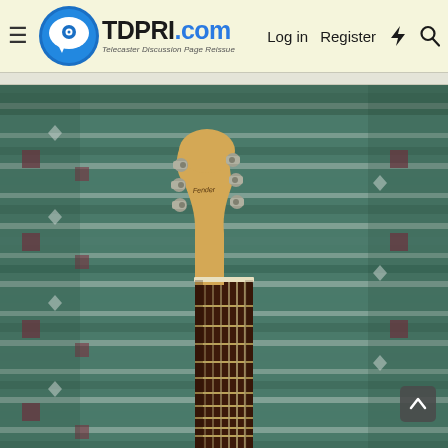TDPRI.com — Telecaster Discussion Page Reissue — Log in | Register
[Figure (photo): Close-up photo of a Fender electric guitar neck and headstock leaning against a textile/blanket with a teal, white, and maroon woven geometric pattern. The maple headstock shows the Fender logo and six tuning pegs, with a rosewood fretboard extending downward into the frame.]